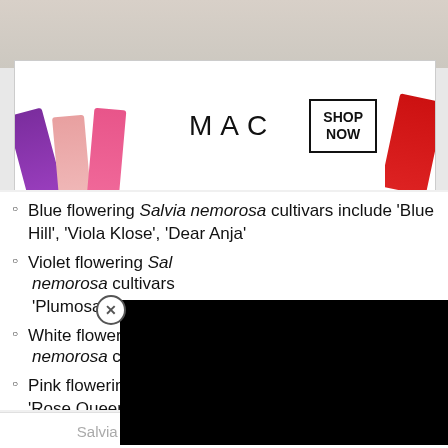[Figure (photo): MAC cosmetics advertisement banner showing lipsticks (purple, pink, red) with MAC logo and SHOP NOW button]
Blue flowering Salvia nemorosa cultivars include 'Blue Hill', 'Viola Klose', 'Dear Anja'
Violet flowering Salvia nemorosa cultivars include 'Plumosa', 'May Night' [partially obscured]
White flowering Salvia nemorosa cultivars include 'Snow Hill' [partially obscured]
Pink flowering Salvia nemorosa cultivars include 'Rose Queen', 'Royal Distinction'
Salvia cultivars are such good perennials for